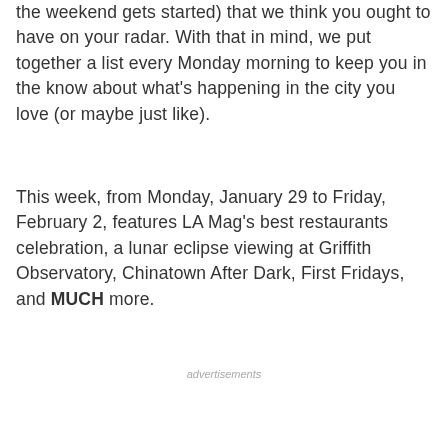the weekend gets started) that we think you ought to have on your radar. With that in mind, we put together a list every Monday morning to keep you in the know about what's happening in the city you love (or maybe just like).
This week, from Monday, January 29 to Friday, February 2, features LA Mag's best restaurants celebration, a lunar eclipse viewing at Griffith Observatory, Chinatown After Dark, First Fridays, and MUCH more.
advertisements